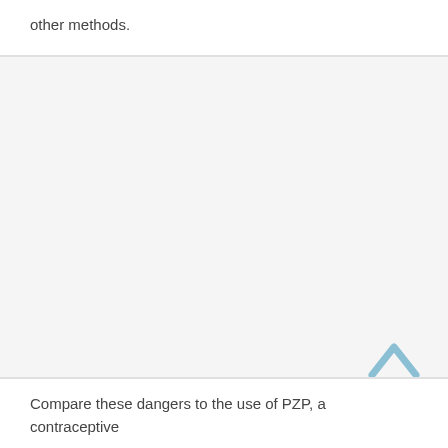other methods.
Compare these dangers to the use of PZP, a contraceptive